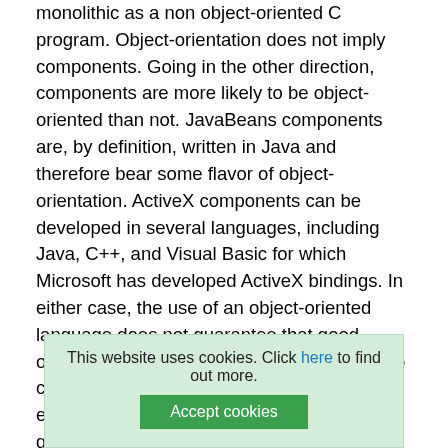monolithic as a non object-oriented C program. Object-orientation does not imply components. Going in the other direction, components are more likely to be object-oriented than not. JavaBeans components are, by definition, written in Java and therefore bear some flavor of object-orientation. ActiveX components can be developed in several languages, including Java, C++, and Visual Basic for which Microsoft has developed ActiveX bindings. In either case, the use of an object-oriented language does not guarantee that good object-oriented design methods were used to create the application. What all this emphasizes is that there is no substitute for good design. Take some programmers who don't understand object-oriented technology and ask them to develop an application with JavaBeans, and you will probably still get a monolithic application using JavaBeans as little more than replacements for functions in ... ob...
This website uses cookies. Click here to find out more.
Accept cookies